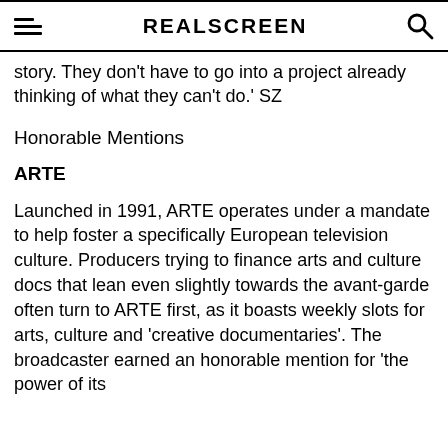REALSCREEN
story. They don't have to go into a project already thinking of what they can't do.' SZ
Honorable Mentions
ARTE
Launched in 1991, ARTE operates under a mandate to help foster a specifically European television culture. Producers trying to finance arts and culture docs that lean even slightly towards the avant-garde often turn to ARTE first, as it boasts weekly slots for arts, culture and 'creative documentaries'. The broadcaster earned an honorable mention for 'the power of its